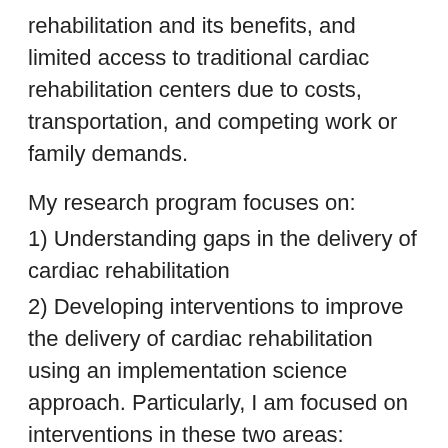rehabilitation and its benefits, and limited access to traditional cardiac rehabilitation centers due to costs, transportation, and competing work or family demands.
My research program focuses on:
1) Understanding gaps in the delivery of cardiac rehabilitation
2) Developing interventions to improve the delivery of cardiac rehabilitation using an implementation science approach. Particularly, I am focused on interventions in these two areas:
– home-based cardiac rehabilitation
– technology-facilitated home cardiac rehabilitation (e.g., mobile applications, text